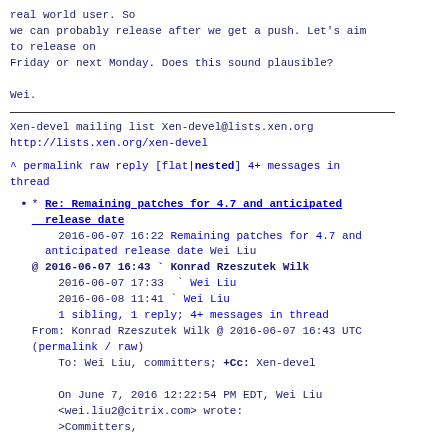real world user. So
we can probably release after we get a push. Let's aim
to release on
Friday or next Monday. Does this sound plausible?

Wei.
Xen-devel mailing list
Xen-devel@lists.xen.org
http://lists.xen.org/xen-devel
^ permalink raw reply   [flat|nested] 4+ messages in
thread
* Re: Remaining patches for 4.7 and anticipated release date
    2016-06-07 16:22 Remaining patches for 4.7 and anticipated release date Wei Liu
@ 2016-06-07 16:43 ` Konrad Rzeszutek Wilk
    2016-06-07 17:33   ` Wei Liu
    2016-06-08 11:41 ` Wei Liu
    1 sibling, 1 reply; 4+ messages in thread
From: Konrad Rzeszutek Wilk @ 2016-06-07 16:43 UTC (permalink / raw)
    To: Wei Liu, committers; +Cc: Xen-devel

On June 7, 2016 12:22:54 PM EDT, Wei Liu
<wei.liu2@citrix.com> wrote:
>Committers,